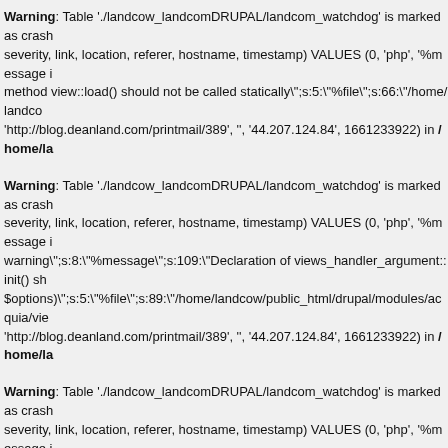Warning: Table './landcow_landcomDRUPAL/landcom_watchdog' is marked as crash... severity, link, location, referer, hostname, timestamp) VALUES (0, 'php', '%message i... method view::load() should not be called statically";s:5:"%file";s:66:"/home/landco... 'http://blog.deanland.com/printmail/389', '', '44.207.124.84', 1661233922) in /home/la...
Warning: Table './landcow_landcomDRUPAL/landcom_watchdog' is marked as crash... severity, link, location, referer, hostname, timestamp) VALUES (0, 'php', '%message i... warning";s:8:"%message";s:109:"Declaration of views_handler_argument::init() sh... $options)";s:5:"%file";s:89:"/home/landcow/public_html/drupal/modules/acquia/vie... 'http://blog.deanland.com/printmail/389', '', '44.207.124.84', 1661233922) in /home/la...
Warning: Table './landcow_landcomDRUPAL/landcom_watchdog' is marked as crash... severity, link, location, referer, hostname, timestamp) VALUES (0, 'php', '%message i... warning";s:8:"%message";s:134:"Declaration of views_handler_filter::options_valic... &$form_state)";s:5:"%file";s:87:"/home/landcow/public_html/drupal/modules/acquia... 'http://blog.deanland.com/printmail/389', '', '44.207.124.84', 1661233922) in /home/la...
Warning: Table './landcow_landcomDRUPAL/landcom_watchdog' is marked as crash... severity, link, location, referer, hostname, timestamp) VALUES (0, 'php', '%message i... warning";s:8:"%message";s:130:"Declaration of views_handler_filter::options_subm... &$form_state)";s:5:"%file";s:87:"/home/landcow/public_html/drupal/modules/acquia...